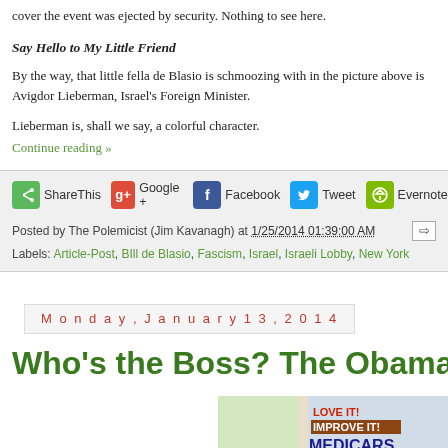cover the event was ejected by security. Nothing to see here.
Say Hello to My Little Friend
By the way, that little fella de Blasio is schmoozing with in the picture above is Avigdor Lieberman, Israel's Foreign Minister.
Lieberman is, shall we say, a colorful character.
Continue reading »
ShareThis   Google +   Facebook   Tweet   Evernote   Email
Posted by The Polemicist (Jim Kavanagh) at 1/25/2014 01:39:00 AM
Labels: Article-Post, BIll de Blasio, Fascism, Israel, Israeli Lobby, New York
Monday, January 13, 2014
Who's the Boss? The Obamacare D
[Figure (photo): Protest sign reading LOVE IT! IMPROVE IT! MEDICARE with people in background]